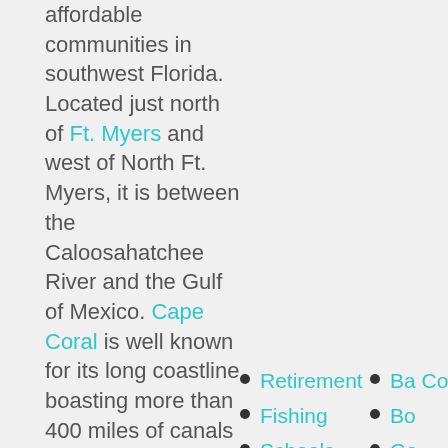affordable communities in southwest Florida. Located just north of Ft. Myers and west of North Ft. Myers, it is between the Caloosahatchee River and the Gulf of Mexico. Cape Coral is well known for its long coastline boasting more than 400 miles of canals with easy access to beautiful neighboring
Retirement
Fishing
Schools
Ba... Co...
Bo...
Ga...